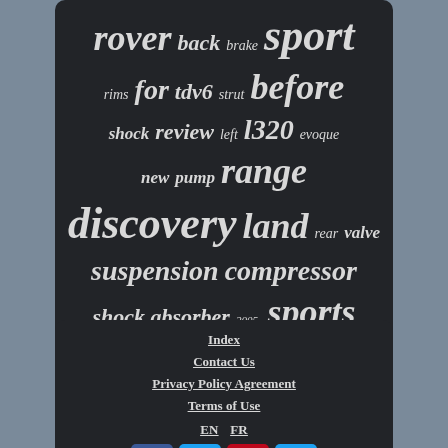[Figure (infographic): Tag cloud on dark background with Land Rover related terms in various sizes: rover, back, brake, sport, rims, for, tdv6, strut, before, shock, review, left, l320, evoque, new, pump, range, discovery, land, rear, valve, suspension, compressor, shock absorber, 2005-, sports]
Index
Contact Us
Privacy Policy Agreement
Terms of Use
EN  FR